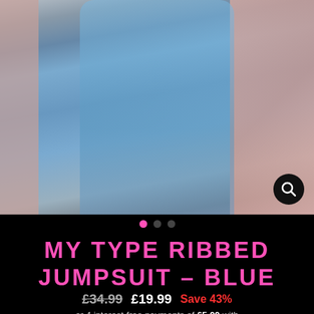[Figure (photo): Woman wearing a blue ribbed long-sleeve jumpsuit and clear heeled mules, posing in what appears to be a changing room with pink tile wall background]
MY TYPE RIBBED JUMPSUIT - BLUE
£34.99  £19.99  Save 43%
or 4 interest-free payments of £5.00 with